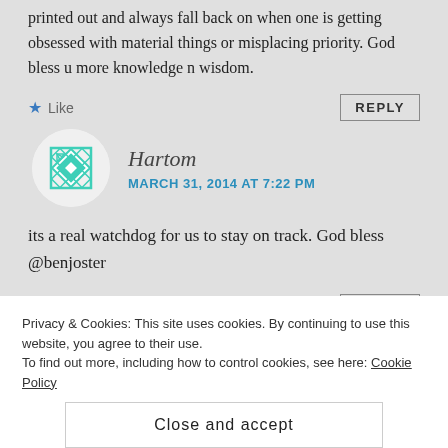printed out and always fall back on when one is getting obsessed with material things or misplacing priority. God bless u more knowledge n wisdom.
Like
REPLY
Hartom
MARCH 31, 2014 AT 7:22 PM
its a real watchdog for us to stay on track. God bless @benjoster
Like
REPLY
Privacy & Cookies: This site uses cookies. By continuing to use this website, you agree to their use.
To find out more, including how to control cookies, see here: Cookie Policy
Close and accept